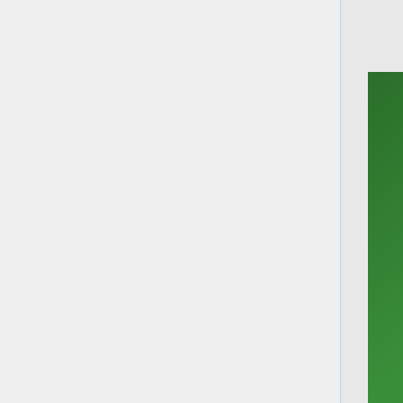[Figure (photo): Close-up photograph of the RFM12Pi V2 circuit board, showing a green PCB with white silkscreen text including 'CE', 'Power', component labels (C1, C2, S2, R2), a blue RF module with 'MADE IN CHINA' text, SMD components, and a micro USB connector in the foreground.]
Development of the RFM12Pi has been a team effort between Martin Harizanov and Glyn Hudson.
The RFM12Pi V2 consists of an RFM12B wireless module and an ATmega328 microprocessor running